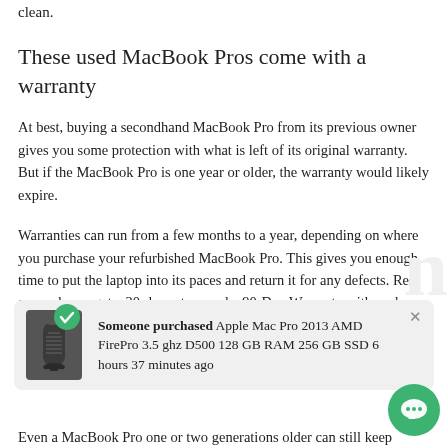clean.
These used MacBook Pros come with a warranty
At best, buying a secondhand MacBook Pro from its previous owner gives you some protection with what is left of its original warranty. But if the MacBook Pro is one year or older, the warranty would likely expire.
Warranties can run from a few months to a year, depending on where you purchase your refurbished MacBook Pro. This gives you enough time to put the laptop into its paces and return it for any defects. Rest assured, you get a 30-day return and a 90-Day Warranty with each Mac. We also offer up to a 3-year Macbook Pro warranty from our partner SafeTechWarranty, giving you full peace of mind.
[Figure (screenshot): Notification popup showing a green checkmark, an image of an Apple Mac Pro (black cylinder), bold text 'Someone purchased' followed by 'Apple Mac Pro 2013 AMD FirePro 3.5 ghz D500 128 GB RAM 256 GB SSD 6 hours 37 minutes ago', with a close X button and a green chat bubble icon.]
Even a MacBook Pro one or two generations older can still keep